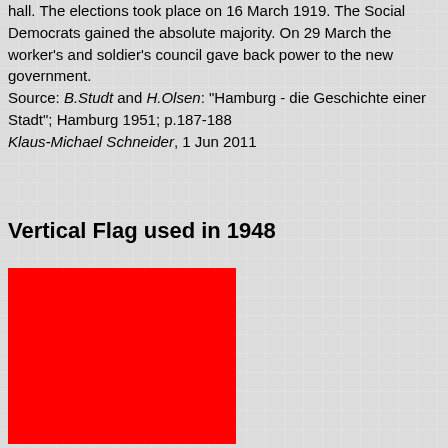hall. The elections took place on 16 March 1919. The Social Democrats gained the absolute majority. On 29 March the worker's and soldier's council gave back power to the new government. Source: B.Studt and H.Olsen: "Hamburg - die Geschichte einer Stadt"; Hamburg 1951; p.187-188
Klaus-Michael Schneider, 1 Jun 2011
Vertical Flag used in 1948
[Figure (illustration): A vertical flag shown in red (left half) and white/light grey (right portion visible), used in 1948.]